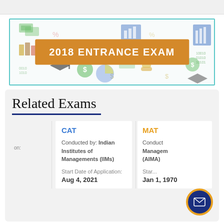[Figure (illustration): 2018 Entrance Exam banner with educational and finance icons (money, graduation cap, charts) on white background, orange rectangle with white bold text '2018 ENTRANCE EXAM', teal border]
Related Exams
CAT
Conducted by: Indian Institutes of Managements (IIMs)
Start Date of Application:
Aug 4, 2021
MAT
Conducted by: All India Management Association (AIMA)
Start Date of Application:
Jan 1, 1970